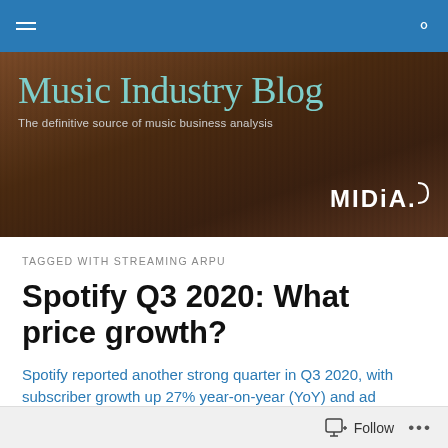Music Industry Blog navigation bar
[Figure (illustration): Music Industry Blog banner with crowd background, teal title text 'Music Industry Blog', subtitle 'The definitive source of music business analysis', and MIDiA logo in bottom right]
TAGGED WITH STREAMING ARPU
Spotify Q3 2020: What price growth?
Spotify reported another strong quarter in Q3 2020, with subscriber growth up 27% year-on-year (YoY) and ad
Follow